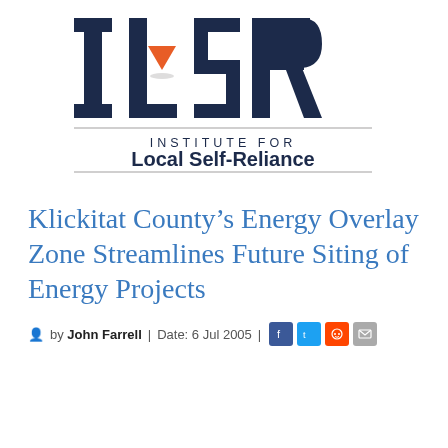[Figure (logo): ILSR (Institute for Local Self-Reliance) logo with large navy blue letters I, L, S, R and an orange downward-pointing triangle as part of the L, with horizontal dividers and text 'INSTITUTE FOR Local Self-Reliance']
Klickitat County’s Energy Overlay Zone Streamlines Future Siting of Energy Projects
by John Farrell | Date: 6 Jul 2005 |